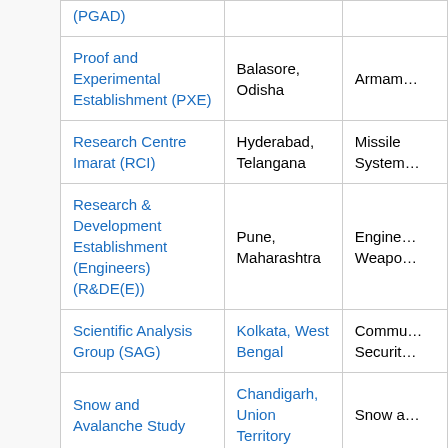| Laboratory/Establishment | Location | Focus Area |
| --- | --- | --- |
| (PGAD) |  |  |
| Proof and Experimental Establishment (PXE) | Balasore, Odisha | Armam… |
| Research Centre Imarat (RCI) | Hyderabad, Telangana | Missile System… |
| Research & Development Establishment (Engineers) (R&DE(E)) | Pune, Maharashtra | Engine… Weapo… |
| Scientific Analysis Group (SAG) | Kolkata, West Bengal | Commu… Securit… |
| Snow and Avalanche Study | Chandigarh, Union Territory | Snow a… |